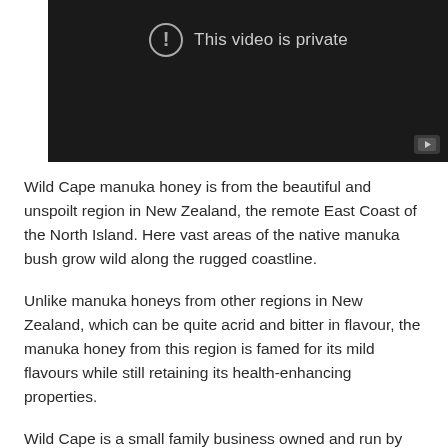[Figure (screenshot): An embedded video player showing a dark/black background with a warning icon and the text 'This video is private', and a YouTube play button in the bottom right corner.]
Wild Cape manuka honey is from the beautiful and unspoilt region in New Zealand, the remote East Coast of the North Island. Here vast areas of the native manuka bush grow wild along the rugged coastline.
Unlike manuka honeys from other regions in New Zealand, which can be quite acrid and bitter in flavour, the manuka honey from this region is famed for its mild flavours while still retaining its health-enhancing properties.
Wild Cape is a small family business owned and run by beekeeper Bill Savage. In spring of each year Bill and his